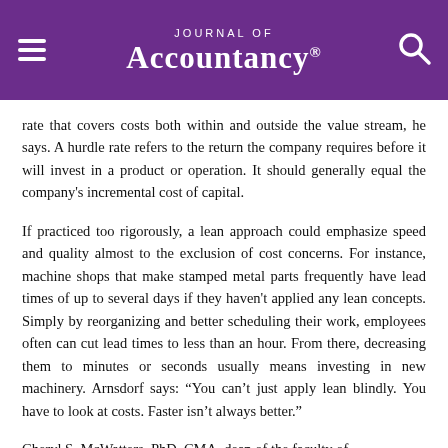Journal of Accountancy
rate that covers costs both within and outside the value stream, he says. A hurdle rate refers to the return the company requires before it will invest in a product or operation. It should generally equal the company's incremental cost of capital.
If practiced too rigorously, a lean approach could emphasize speed and quality almost to the exclusion of cost concerns. For instance, machine shops that make stamped metal parts frequently have lead times of up to several days if they haven't applied any lean concepts. Simply by reorganizing and better scheduling their work, employees often can cut lead times to less than an hour. From there, decreasing them to minutes or seconds usually means investing in new machinery. Arnsdorf says: “You can’t just apply lean blindly. You have to look at costs. Faster isn’t always better.”
Cheryl S. McWatters, PhD, CMA, dean of the faculty of